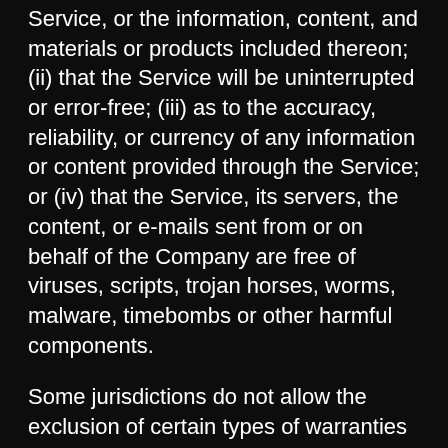Service, or the information, content, and materials or products included thereon; (ii) that the Service will be uninterrupted or error-free; (iii) as to the accuracy, reliability, or currency of any information or content provided through the Service; or (iv) that the Service, its servers, the content, or e-mails sent from or on behalf of the Company are free of viruses, scripts, trojan horses, worms, malware, timebombs or other harmful components.
Some jurisdictions do not allow the exclusion of certain types of warranties or limitations on applicable statutory rights of a consumer, so some or all of the above exclusions and limitations may not apply to You. But in such a case the exclusions and limitations set forth in this section shall be applied to the greatest extent enforceable under applicable law.
GOVERNING LAW